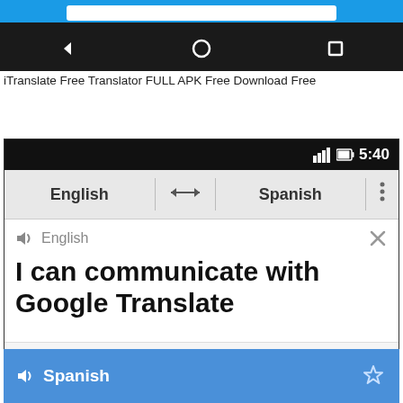[Figure (screenshot): Top portion of Android phone screenshot showing blue search bar area and black navigation bar with back, home, and recents buttons]
iTranslate Free Translator FULL APK Free Download Free
[Figure (screenshot): Google Translate Android app screenshot showing English to Spanish translation interface with status bar showing 5:40, language selector bar with English, arrows, and Spanish, input area showing 'I can communicate with Google Translate' in English with speaker and X icons, bottom toolbar with camera, microphone and handwriting icons, and blue Spanish output panel at bottom]